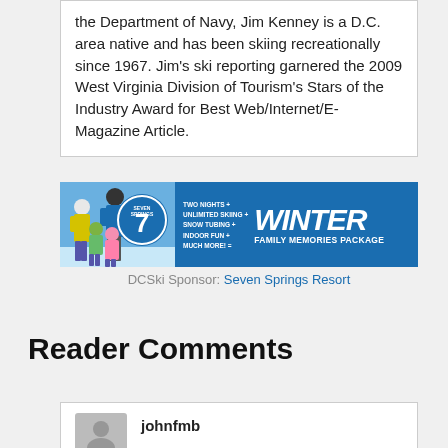the Department of Navy, Jim Kenney is a D.C. area native and has been skiing recreationally since 1967. Jim's ski reporting garnered the 2009 West Virginia Division of Tourism's Stars of the Industry Award for Best Web/Internet/E-Magazine Article.
[Figure (photo): Advertisement for Seven Springs Resort showing a family of skiers with text: TWO NIGHTS + UNLIMITED SKIING + SNOW TUBING + INDOOR FUN + MUCH MORE! = WINTER FAMILY MEMORIES PACKAGE. CLICK HERE TO BOOK NOW!]
DCSki Sponsor: Seven Springs Resort
Reader Comments
johnfmb